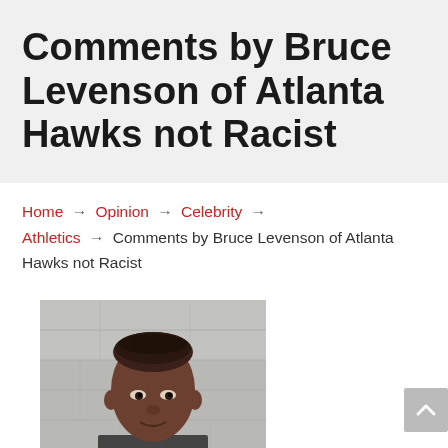Comments by Bruce Levenson of Atlanta Hawks not Racist
Home → Opinion → Celebrity → Athletics → Comments by Bruce Levenson of Atlanta Hawks not Racist
[Figure (photo): Portrait photo of a man from the shoulders up, against a stone/concrete background]